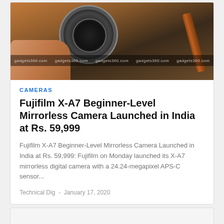[Figure (photo): Hand holding a Fujifilm X-A7 mirrorless camera in brown/orange color with lens visible, multiple gadgets360.com watermarks across the bottom portion of the image]
CAMERAS
Fujifilm X-A7 Beginner-Level Mirrorless Camera Launched in India at Rs. 59,999
Fujifilm X-A7 Beginner-Level Mirrorless Camera Launched in India at Rs. 59,999: Fujifilm on Monday launched its X-A7 mirrorless digital camera with a 24.24-megapixel APS-C sensor...
Technical Dig  -  January 17, 2020